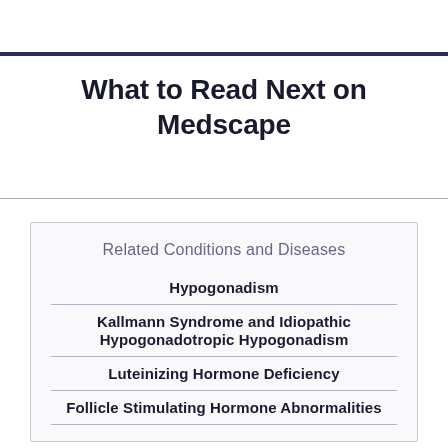What to Read Next on Medscape
Related Conditions and Diseases
Hypogonadism
Kallmann Syndrome and Idiopathic Hypogonadotropic Hypogonadism
Luteinizing Hormone Deficiency
Follicle Stimulating Hormone Abnormalities